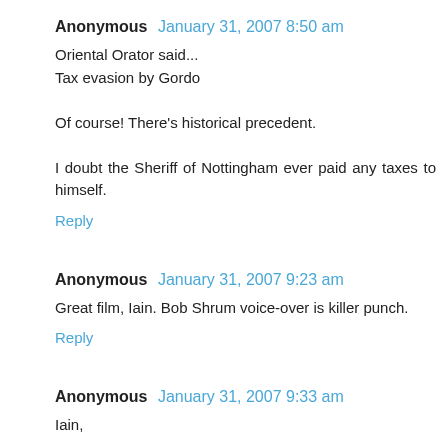Anonymous  January 31, 2007 8:50 am
Oriental Orator said...
Tax evasion by Gordo

Of course! There's historical precedent.

I doubt the Sheriff of Nottingham ever paid any taxes to himself.
Reply
Anonymous  January 31, 2007 9:23 am
Great film, Iain. Bob Shrum voice-over is killer punch.
Reply
Anonymous  January 31, 2007 9:33 am
Iain,